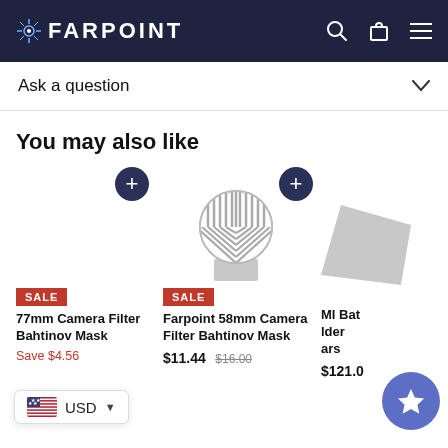FARPOINT
Ask a question
You may also like
[Figure (photo): Product card for 77mm Camera Filter Bahtinov Mask with SALE badge]
[Figure (photo): Product card for Farpoint 58mm Camera Filter Bahtinov Mask with SALE badge, showing circular grid filter on stand]
[Figure (photo): Partial product card showing MI Bat holder/bars at $121.0]
77mm Camera Filter Bahtinov Mask
Save $4.56
Farpoint 58mm Camera Filter Bahtinov Mask
$11.44  $16.00
MI Bat lder ars $121.0